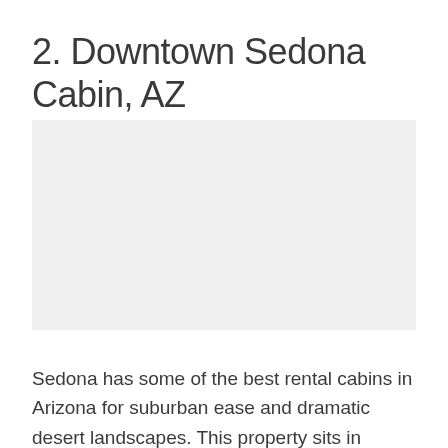2. Downtown Sedona Cabin, AZ
[Figure (photo): Photo of a cabin or property in Downtown Sedona, AZ (image area placeholder)]
Sedona has some of the best rental cabins in Arizona for suburban ease and dramatic desert landscapes. This property sits in Sedona town center, ideally located and boasting great views